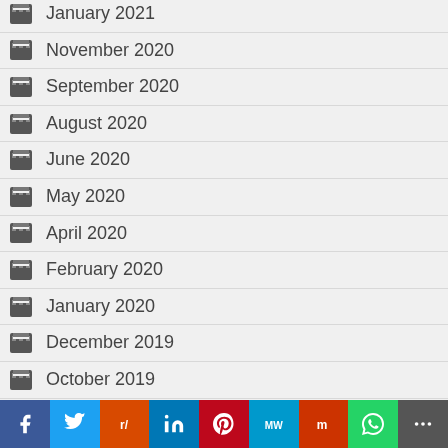January 2021
November 2020
September 2020
August 2020
June 2020
May 2020
April 2020
February 2020
January 2020
December 2019
October 2019
September 2019
August 2019
July 2019